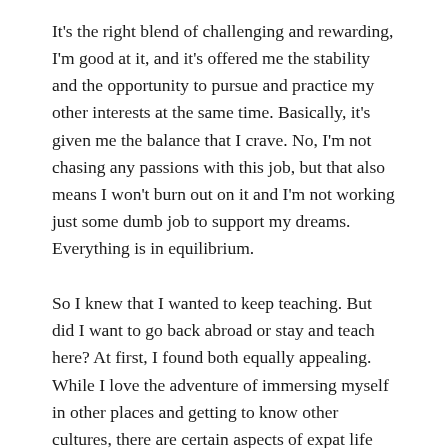It's the right blend of challenging and rewarding, I'm good at it, and it's offered me the stability and the opportunity to pursue and practice my other interests at the same time. Basically, it's given me the balance that I crave. No, I'm not chasing any passions with this job, but that also means I won't burn out on it and I'm not working just some dumb job to support my dreams. Everything is in equilibrium.
So I knew that I wanted to keep teaching. But did I want to go back abroad or stay and teach here? At first, I found both equally appealing. While I love the adventure of immersing myself in other places and getting to know other cultures, there are certain aspects of expat life that are tiring.